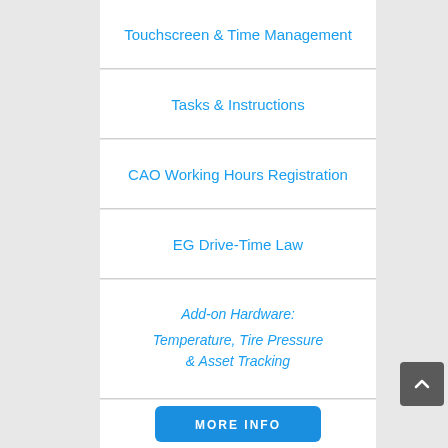Touchscreen & Time Management
Tasks & Instructions
CAO Working Hours Registration
EG Drive-Time Law
Add-on Hardware: Temperature, Tire Pressure & Asset Tracking
MORE INFO